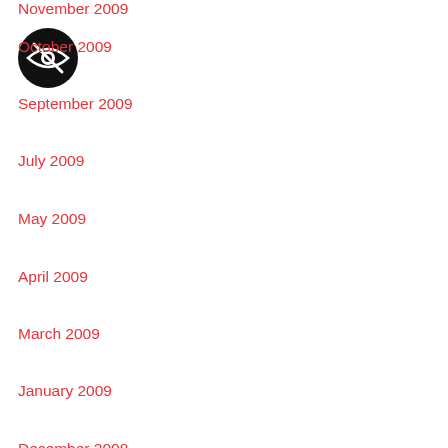November 2009
[Figure (illustration): Black circular icon with a crossed-out eye symbol (hidden/invisible icon)]
October 2009
September 2009
July 2009
May 2009
April 2009
March 2009
January 2009
December 2008
November 2008
September 2008
July 2008
April 2008
February 2008
January 2008
December 2007
November 2007
August 2007
July 2007